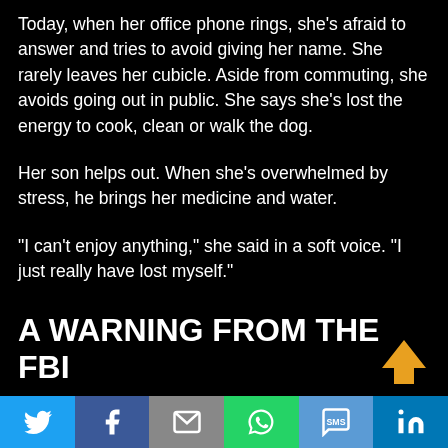Today, when her office phone rings, she's afraid to answer and tries to avoid giving her name. She rarely leaves her cubicle. Aside from commuting, she avoids going out in public. She says she's lost the energy to cook, clean or walk the dog.
Her son helps out. When she's overwhelmed by stress, he brings her medicine and water.
“I can’t enjoy anything,” she said in a soft voice. “I just really have lost myself.”
A WARNING FROM THE FBI
Like her daughter, Freeman was targeted with hundreds of threats and racial slurs immediately after Trump’s team...